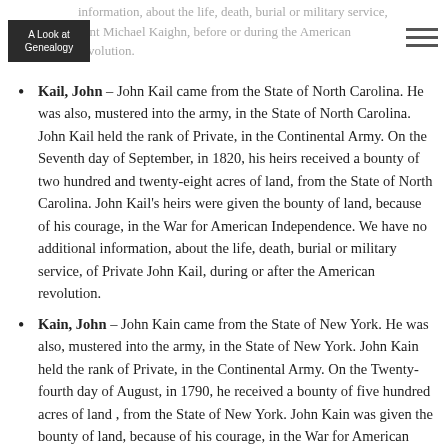information, about the life, death, burial or military service, eant Michael Kaighn, before or during the American revolution.
Kail, John – John Kail came from the State of North Carolina. He was also, mustered into the army, in the State of North Carolina. John Kail held the rank of Private, in the Continental Army. On the Seventh day of September, in 1820, his heirs received a bounty of two hundred and twenty-eight acres of land, from the State of North Carolina. John Kail's heirs were given the bounty of land, because of his courage, in the War for American Independence. We have no additional information, about the life, death, burial or military service, of Private John Kail, during or after the American revolution.
Kain, John – John Kain came from the State of New York. He was also, mustered into the army, in the State of New York. John Kain held the rank of Private, in the Continental Army. On the Twenty-fourth day of August, in 1790, he received a bounty of five hundred acres of land , from the State of New York. John Kain was given the bounty of land, because of his courage, in the War for American